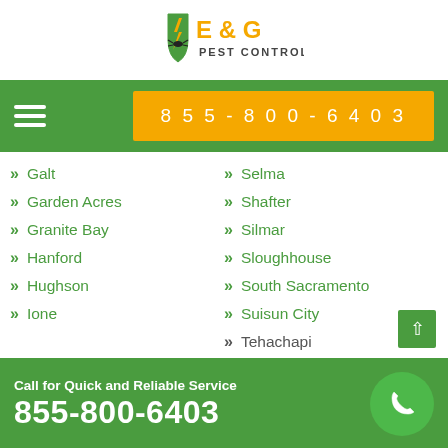[Figure (logo): E & G Pest Control logo with lightning bolt and bug on a shield, orange and dark text]
855-800-6403
Galt
Garden Acres
Granite Bay
Hanford
Hughson
Ione
Selma
Shafter
Silmar
Sloughhouse
South Sacramento
Suisun City
Tehachapi
Call for Quick and Reliable Service
855-800-6403